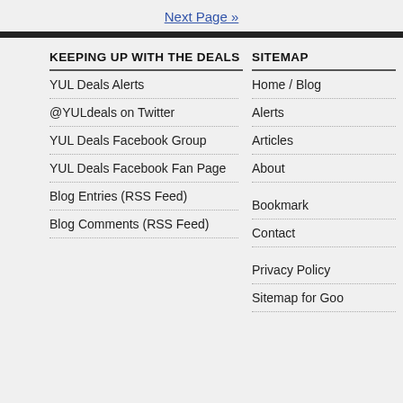Next Page »
KEEPING UP WITH THE DEALS
YUL Deals Alerts
@YULdeals on Twitter
YUL Deals Facebook Group
YUL Deals Facebook Fan Page
Blog Entries (RSS Feed)
Blog Comments (RSS Feed)
SITEMAP
Home / Blog
Alerts
Articles
About
Bookmark
Contact
Privacy Policy
Sitemap for Goo…